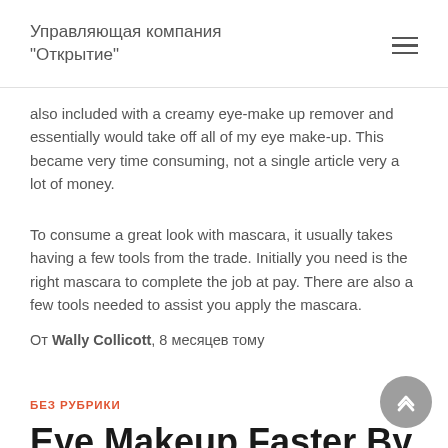Управляющая компания "Открытие"
also included with a creamy eye-make up remover and essentially would take off all of my eye make-up. This became very time consuming, not a single article very a lot of money.
To consume a great look with mascara, it usually takes having a few tools from the trade. Initially you need is the right mascara to complete the job at pay. There are also a few tools needed to assist you apply the mascara.
От Wally Collicott, 8 месяцев тому
БЕЗ РУБРИКИ
Eye Makeup Faster By Using These Simple Tips